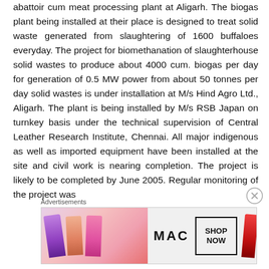abattoir cum meat processing plant at Aligarh. The biogas plant being installed at their place is designed to treat solid waste generated from slaughtering of 1600 buffaloes everyday. The project for biomethanation of slaughterhouse solid wastes to produce about 4000 cum. biogas per day for generation of 0.5 MW power from about 50 tonnes per day solid wastes is under installation at M/s Hind Agro Ltd., Aligarh. The plant is being installed by M/s RSB Japan on turnkey basis under the technical supervision of Central Leather Research Institute, Chennai. All major indigenous as well as imported equipment have been installed at the site and civil work is nearing completion. The project is likely to be completed by June 2005. Regular monitoring of the project was
Advertisements
[Figure (photo): Advertisement banner for MAC cosmetics showing lipsticks in purple, peach, pink and red colors with MAC logo and SHOP NOW button]